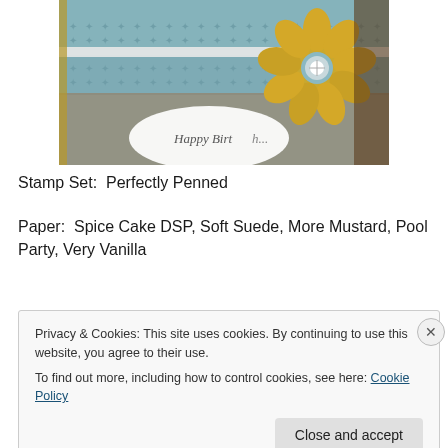[Figure (photo): A handmade birthday card with a large yellow/mustard flower embellishment, patterned blue and brown paper background, white ribbon, and a white oval tag reading 'Happy Birthday']
Stamp Set:  Perfectly Penned
Paper:  Spice Cake DSP, Soft Suede, More Mustard, Pool Party, Very Vanilla
Privacy & Cookies: This site uses cookies. By continuing to use this website, you agree to their use.
To find out more, including how to control cookies, see here: Cookie Policy
Close and accept